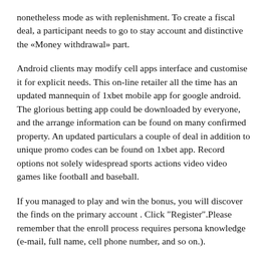nonetheless mode as with replenishment. To create a fiscal deal, a participant needs to go to stay account and distinctive the «Money withdrawal» part.
Android clients may modify cell apps interface and customise it for explicit needs. This on-line retailer all the time has an updated mannequin of 1xbet mobile app for google android. The glorious betting app could be downloaded by everyone, and the arrange information can be found on many confirmed property. An updated particulars a couple of deal in addition to unique promo codes can be found on 1xbet app. Record options not solely widespread sports actions video video games like football and baseball.
If you managed to play and win the bonus, you will discover the finds on the primary account . Click "Register".Please remember that the enroll process requires persona knowledge (e-mail, full name, cell phone number, and so on.).